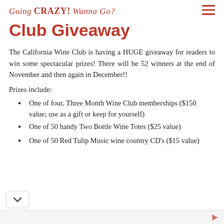Going CRAZY! Wanna Go?
Club Giveaway
The California Wine Club is having a HUGE giveaway for readers to win some spectacular prizes! There will be 52 winners at the end of November and then again in December!!
Prizes include:
One of four, Three Month Wine Club memberships ($150 value; use as a gift or keep for yourself)
One of 50 handy Two Bottle Wine Totes ($25 value)
One of 50 Red Tulip Music wine country CD's ($15 value)